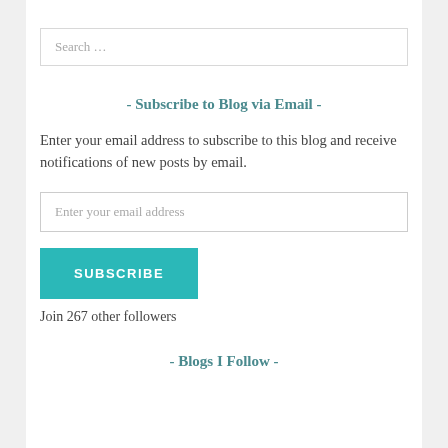Search …
- Subscribe to Blog via Email -
Enter your email address to subscribe to this blog and receive notifications of new posts by email.
Enter your email address
SUBSCRIBE
Join 267 other followers
- Blogs I Follow -